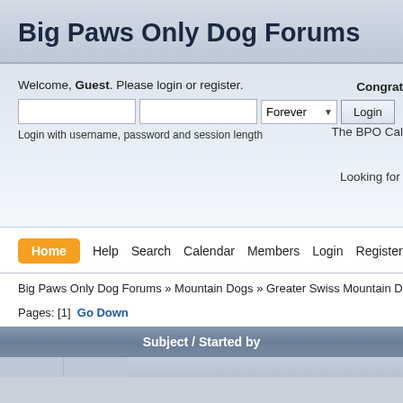Big Paws Only Dog Forums
Welcome, Guest. Please login or register.
Login with username, password and session length
Congrat
The BPO Cal
Looking for s
Home  Help  Search  Calendar  Members  Login  Register
Big Paws Only Dog Forums » Mountain Dogs » Greater Swiss Mountain Dog Discussion
Pages: [1]  Go Down
| Subject / Started by |
| --- |
|  |